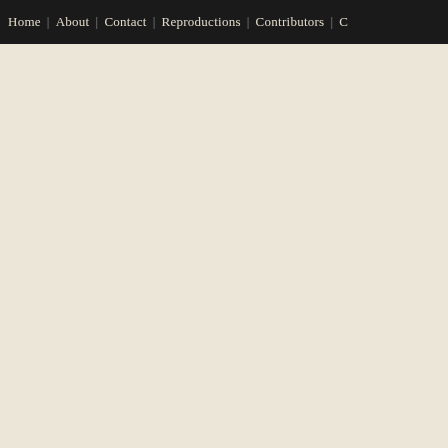Home | About | Contact | Reproductions | Contributors | C
Indiana, thence South 45 degrees and State right-of-way line, a distance of steel bar is also on the centerline of sa southwest of the runway end, thence minutes East, along said State right-o feet, thence South 44 degrees and 16 1544.5 feet, to the said west Koehling 1 degree and 25 minutes West, along line, a distance of 279.5 feet, to the p being 12.39 acres, more or less, all bea true bearing of North 44 degrees and centerline of Baer Field Runway 22- Layout Plan; no buildings or structur within the area. Part 2: A part of the S Township 29 North, Range 12 East, presently the property of Sherman H commencing at a steel bar at the sout at the intersection of the Smith Road thence North 87 degrees and 30 mi